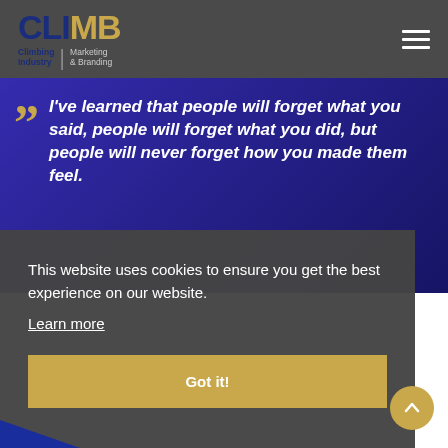[Figure (logo): CLIMB logo — Climbing Industry Marketing & Branding — with CLI in dark blue, MB in gold, subtext in blue and grey]
I've learned that people will forget what you said, people will forget what you did, but people will never forget how you made them feel.
This website uses cookies to ensure you get the best experience on our website.
Learn more
Got it!